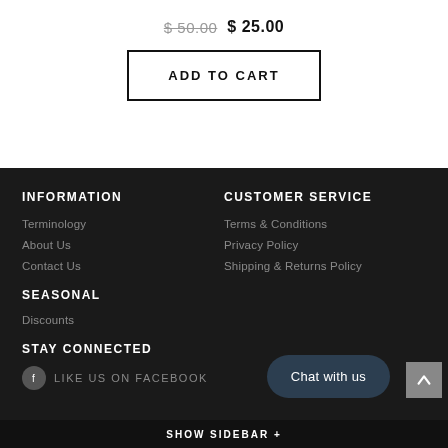$ 50.00  $ 25.00
ADD TO CART
INFORMATION
CUSTOMER SERVICE
Terminology
Terms & Conditions
About Us
Privacy Policy
Contact Us
Shipping & Returns Policy
SEASONAL
Discounts
STAY CONNECTED
LIKE US on FACEBOOK
Chat with us
SHOW SIDEBAR +